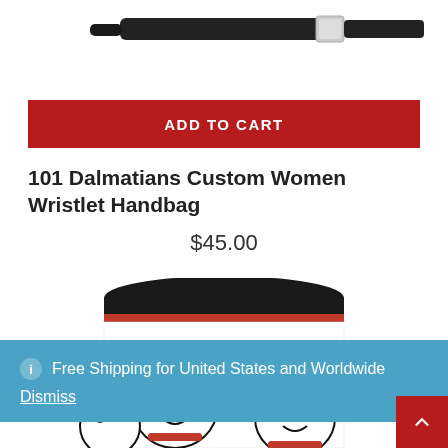[Figure (photo): Partial image of a black wristlet handbag strap against a white background, visible at the top of the page]
ADD TO CART
101 Dalmatians Custom Women Wristlet Handbag
$45.00
[Figure (photo): A travel mug/cup with 101 Dalmatians cartoon print design — black lid visible at top, dalmatian characters with red collars on the body, partially cut off]
Free Shipping for United States and Worldwide
Dismiss